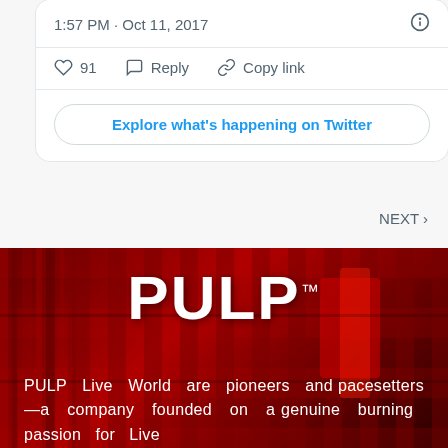1:57 PM · Oct 11, 2017
91  Reply  Copy link
Explore what's happening on Twitter
NEXT ›
[Figure (logo): PULP logo in white bold text on a dark red textured background resembling bookshelves]
PULP Live World are pioneers and pacesetters—a company founded on a genuine burning passion for Live